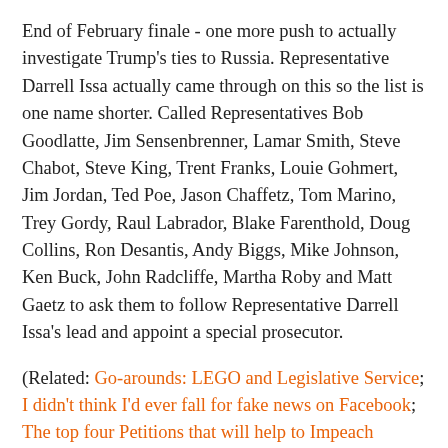End of February finale - one more push to actually investigate Trump's ties to Russia. Representative Darrell Issa actually came through on this so the list is one name shorter. Called Representatives Bob Goodlatte, Jim Sensenbrenner, Lamar Smith, Steve Chabot, Steve King, Trent Franks, Louie Gohmert, Jim Jordan, Ted Poe, Jason Chaffetz, Tom Marino, Trey Gordy, Raul Labrador, Blake Farenthold, Doug Collins, Ron Desantis, Andy Biggs, Mike Johnson, Ken Buck, John Radcliffe, Martha Roby and Matt Gaetz to ask them to follow Representative Darrell Issa's lead and appoint a special prosecutor.
(Related: Go-arounds: LEGO and Legislative Service; I didn't think I'd ever fall for fake news on Facebook; The top four Petitions that will help to Impeach Trump)
(You might also like: Lake Helen; Stamp out B2B spam